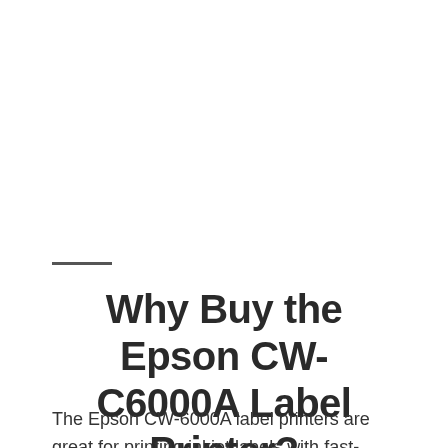Why Buy the Epson CW-C6000A Label Printer?
The Epson CW-6000A label printers are great for printing inkjet labels with fast-drying